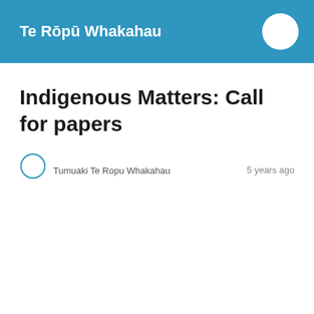Te Rōpū Whakahau
Indigenous Matters: Call for papers
Tumuaki Te Ropu Whakahau
5 years ago